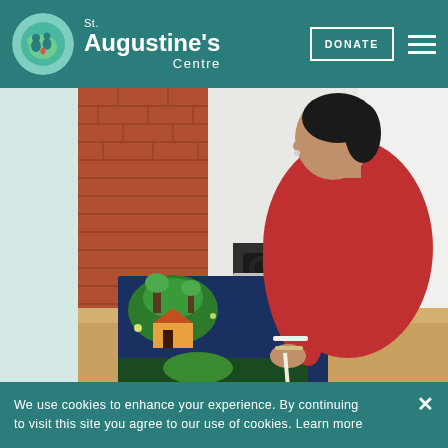St. Augustine's Centre
[Figure (photo): A woman in a red sweatshirt leaning over a table, examining colorful illustrated prints/artwork. Brick wall and audio equipment visible in background.]
We use cookies to enhance your experience. By continuing to visit this site you agree to our use of cookies. Learn more